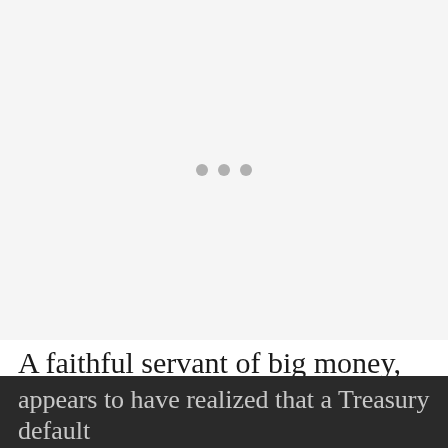[Figure (other): Large light gray image placeholder area with three small gray dots centered, indicating a loading or placeholder image state]
A faithful servant of big money, McConnell appears to have realized that a Treasury default — unprecedented in our history — could cause